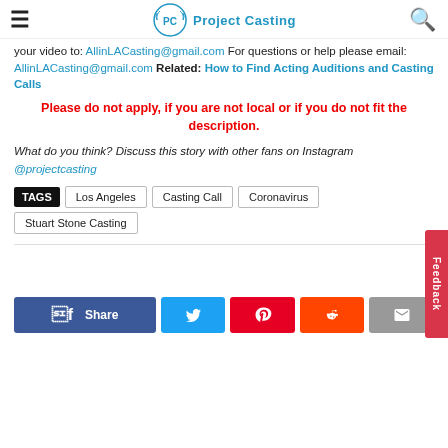Project Casting
your video to: AllinLACasting@gmail.com For questions or help please email: AllinLACasting@gmail.com Related: How to Find Acting Auditions and Casting Calls
Please do not apply, if you are not local or if you do not fit the description.
What do you think? Discuss this story with other fans on Instagram @projectcasting
TAGS Los Angeles Casting Call Coronavirus Stuart Stone Casting